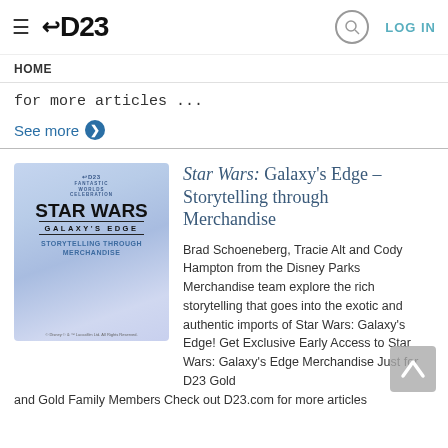D23
HOME
for more articles ...
See more ❯
[Figure (illustration): D23 Fantastic Worlds Celebration - Star Wars Galaxy's Edge Storytelling through Merchandise promotional image]
Star Wars: Galaxy's Edge – Storytelling through Merchandise
Brad Schoeneberg, Tracie Alt and Cody Hampton from the Disney Parks Merchandise team explore the rich storytelling that goes into the exotic and authentic imports of Star Wars: Galaxy's Edge! Get Exclusive Early Access to Star Wars: Galaxy's Edge Merchandise Just for D23 Gold and Gold Family Members Check out D23.com for more articles